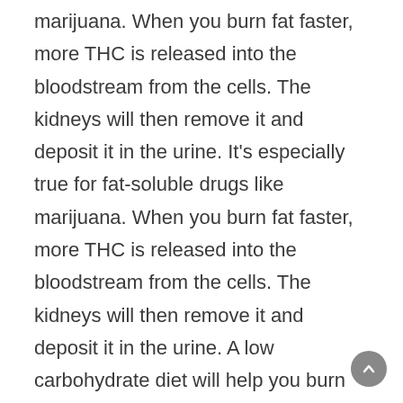marijuana. When you burn fat faster, more THC is released into the bloodstream from the cells. The kidneys will then remove it and deposit it in the urine. It's especially true for fat-soluble drugs like marijuana. When you burn fat faster, more THC is released into the bloodstream from the cells. The kidneys will then remove it and deposit it in the urine. A low carbohydrate diet will help you burn fat faster and more efficiently. Incorporating exercise will result in even more fat burning and THC flushing from the cells. Presuming the user has stopped using THC, higher levels of THC in the bloodstream and urine will result. The next critical step is to stop fat burning and shut down the